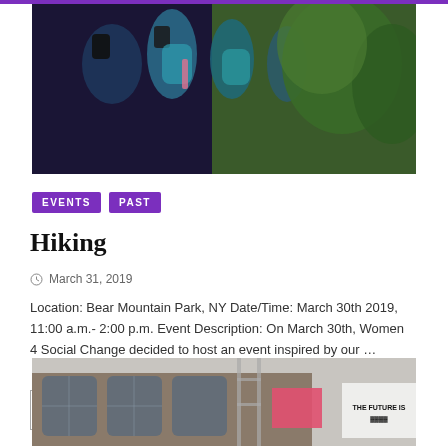[Figure (photo): Hikers with backpacks outdoors, wearing teal/turquoise outdoor gear, with green foliage in background]
EVENTS  PAST
Hiking
March 31, 2019
Location: Bear Mountain Park, NY Date/Time: March 30th 2019, 11:00 a.m.- 2:00 p.m. Event Description: On March 30th, Women 4 Social Change decided to host an event inspired by our ...
READ MORE
[Figure (photo): People at a rally or march in front of a grand stone building, holding a pink sign that reads 'THE FUTURE IS']